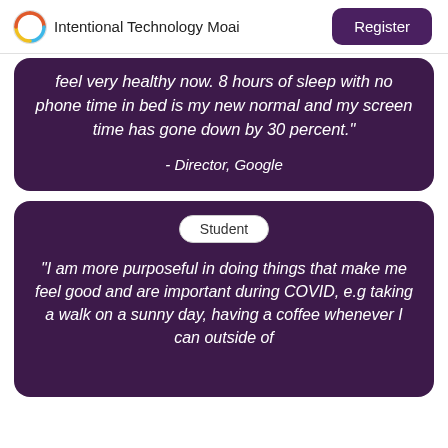Intentional Technology Moai  Register
feel very healthy now. 8 hours of sleep with no phone time in bed is my new normal and my screen time has gone down by 30 percent."
- Director, Google
Student
"I am more purposeful in doing things that make me feel good and are important during COVID, e.g taking a walk on a sunny day, having a coffee whenever I can outside of